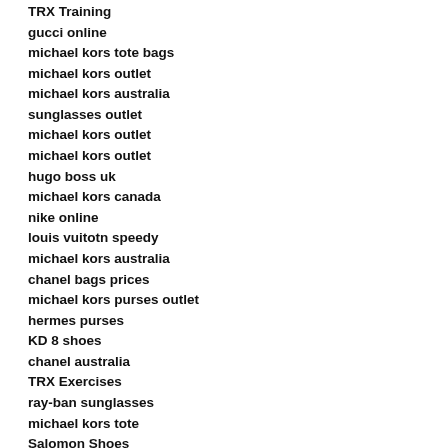TRX Training
gucci online
michael kors tote bags
michael kors outlet
michael kors australia
sunglasses outlet
michael kors outlet
michael kors outlet
hugo boss uk
michael kors canada
nike online
louis vuitotn speedy
michael kors australia
chanel bags prices
michael kors purses outlet
hermes purses
KD 8 shoes
chanel australia
TRX Exercises
ray-ban sunglasses
michael kors tote
Salomon Shoes
michael kors outlet
yeezy boost 350
oakley australia
louis vuitton shoes men
Burberry Outlet
michael kors outlet